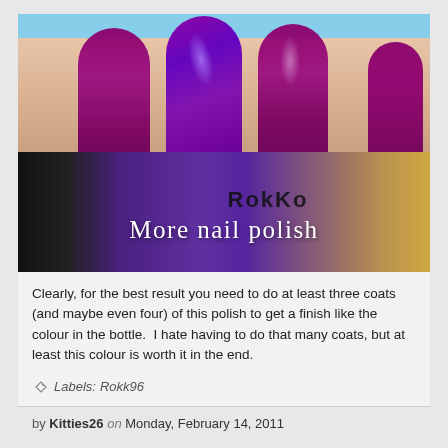[Figure (photo): Close-up photo of a hand with deep purple/magenta nail polish on four fingers, holding a dark purple nail polish bottle labeled with partial text visible. Text overlay reads 'More nail polish' in white handwritten-style font.]
Clearly, for the best result you need to do at least three coats (and maybe even four) of this polish to get a finish like the colour in the bottle.  I hate having to do that many coats, but at least this colour is worth it in the end.
Labels: Rokk96
by Kitties26 on Monday, February 14, 2011